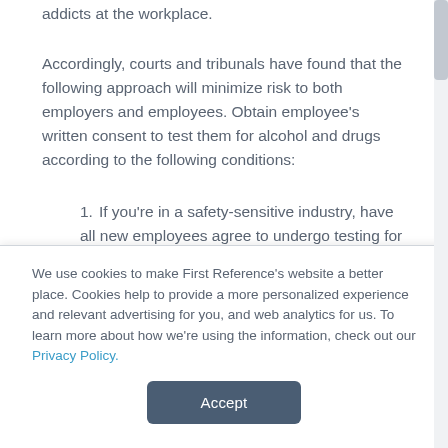addicts at the workplace.
Accordingly, courts and tribunals have found that the following approach will minimize risk to both employers and employees. Obtain employee's written consent to test them for alcohol and drugs according to the following conditions:
If you're in a safety-sensitive industry, have all new employees agree to undergo testing for drugs and
We use cookies to make First Reference's website a better place. Cookies help to provide a more personalized experience and relevant advertising for you, and web analytics for us. To learn more about how we're using the information, check out our Privacy Policy.